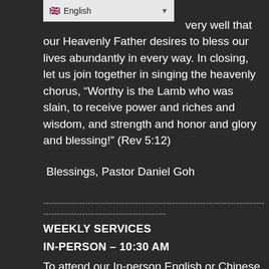[Figure (screenshot): Language selector bar showing UK flag and 'English' with dropdown arrow]
very well that our Heavenly Father desires to bless our lives abundantly in every way. In closing, let us join together in singing the heavenly chorus, “Worthy is the Lamb who was slain, to receive power and riches and wisdom, and strength and honor and glory and blessing!” (Rev 5:12)
Blessings, Pastor Daniel Goh
-------------------------------------------------------------------------------------------------------------------
--------------------------------------------
WEEKLY SERVICES
IN-PERSON – 10:30 AM
To attend our In-person English or Chinese services: